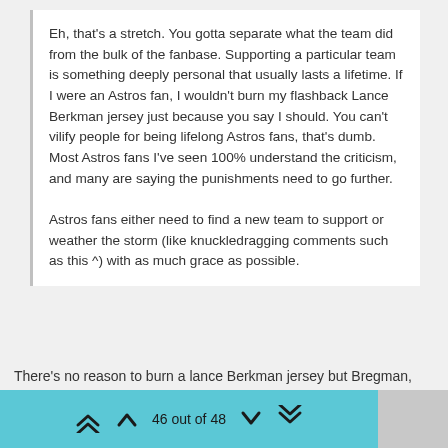Eh, that's a stretch. You gotta separate what the team did from the bulk of the fanbase. Supporting a particular team is something deeply personal that usually lasts a lifetime. If I were an Astros fan, I wouldn't burn my flashback Lance Berkman jersey just because you say I should. You can't vilify people for being lifelong Astros fans, that's dumb. Most Astros fans I've seen 100% understand the criticism, and many are saying the punishments need to go further.

Astros fans either need to find a new team to support or weather the storm (like knuckledragging comments such as this ^) with as much grace as possible.
There’s no reason to burn a lance Berkman jersey but Bregman, Correa, Altuve, and Springer jerseys will make a nice bonfire.
46 out of 48